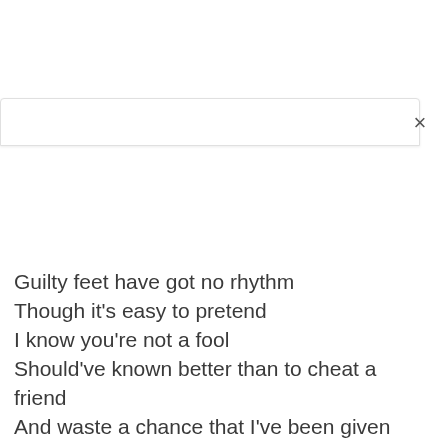[Figure (screenshot): Browser or app UI bar with a close (×) button on the right side]
Guilty feet have got no rhythm
Though it's easy to pretend
I know you're not a fool
Should've known better than to cheat a friend
And waste a chance that I've been given
So I'm never gonna dance again
The way I danced with you